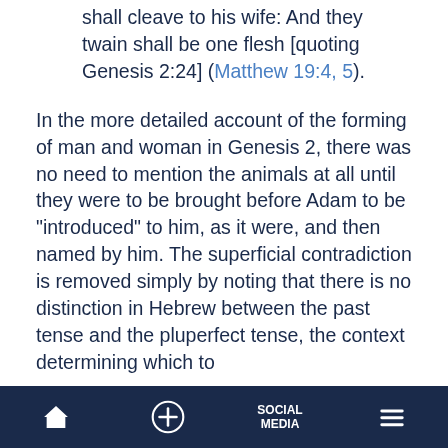shall cleave to his wife: And they twain shall be one flesh [quoting Genesis 2:24] (Matthew 19:4, 5).
In the more detailed account of the forming of man and woman in Genesis 2, there was no need to mention the animals at all until they were to be brought before Adam to be "introduced" to him, as it were, and then named by him. The superficial contradiction is removed simply by noting that there is no distinction in Hebrew between the past tense and the pluperfect tense, the context determining which to
HOME   +   SOCIAL MEDIA   ≡